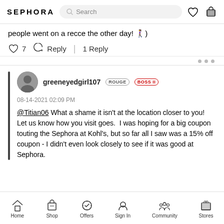SEPHORA | Search bar | heart icon | cart icon
people went on a recce the other day! 🚶‍♀️)
♡ 7  ↩ Reply  |  1 Reply
greeneyedgirl107 ROUGE BOSS II
08-14-2021 02:09 PM
@Titian06 What a shame it isn't at the location closer to you!  Let us know how you visit goes.  I was hoping for a big coupon touting the Sephora at Kohl's, but so far all I saw was a 15% off coupon - I didn't even look closely to see if it was good at Sephora.
Home  Shop  Offers  Sign In  Community  Stores